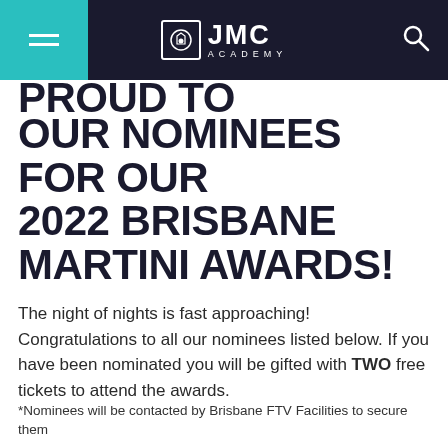JMC ACADEMY
PROUD TO ANNOUNCE OUR NOMINEES FOR OUR 2022 BRISBANE MARTINI AWARDS!
The night of nights is fast approaching! Congratulations to all our nominees listed below. If you have been nominated you will be gifted with TWO free tickets to attend the awards.
*Nominees will be contacted by Brisbane FTV Facilities to secure them